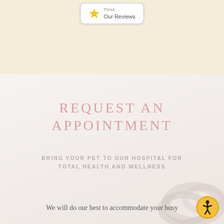[Figure (other): Read Our Reviews button with a gold star icon on a cream/beige background]
[Figure (photo): Light pinkish-white background section with a rope or toy object partially visible at bottom right, forming the appointment request section background]
REQUEST AN APPOINTMENT
BRING YOUR PET TO OUR HOSPITAL FOR TOTAL HEALTH AND WELLNESS
We will do our best to accommodate your busy
[Figure (other): Circular accessibility icon button (orange/yellow circle with person symbol) in bottom right corner]